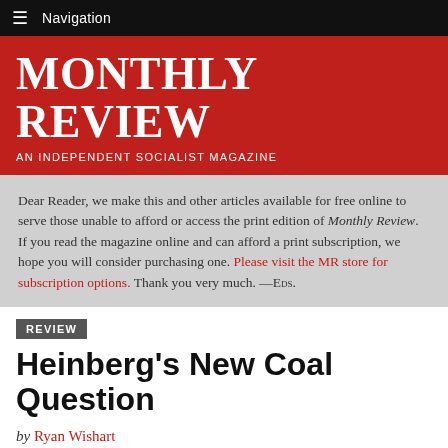Navigation
MONTHLY REVIEW
AN INDEPENDENT SOCIALIST MAGAZINE
Dear Reader, we make this and other articles available for free online to serve those unable to afford or access the print edition of Monthly Review. If you read the magazine online and can afford a print subscription, we hope you will consider purchasing one. Please visit the MR store for subscription options. Thank you very much. —Eds.
REVIEW
Heinberg’s New Coal Question
by Ryan Wishart